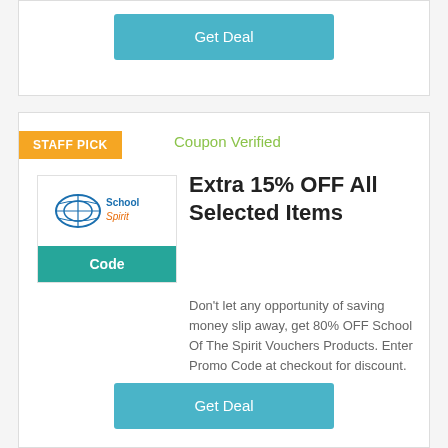Get Deal
STAFF PICK
Coupon Verified
Extra 15% OFF All Selected Items
Don't let any opportunity of saving money slip away, get 80% OFF School Of The Spirit Vouchers Products. Enter Promo Code at checkout for discount.
Code
Get Deal